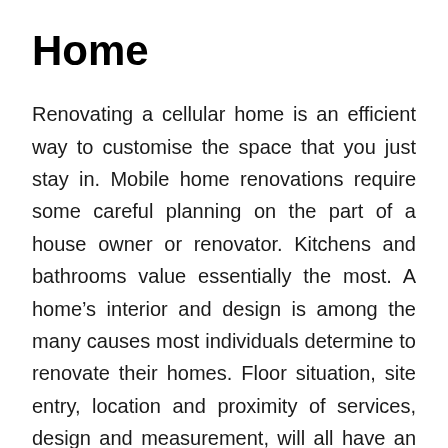Home
Renovating a cellular home is an efficient way to customise the space that you just stay in. Mobile home renovations require some careful planning on the part of a house owner or renovator. Kitchens and bathrooms value essentially the most. A home’s interior and design is among the many causes most individuals determine to renovate their homes. Floor situation, site entry, location and proximity of services, design and measurement, will all have an effect on how a lot your extension costs.